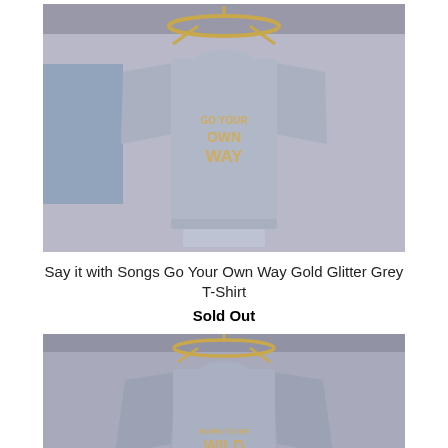[Figure (photo): A grey t-shirt with 'GO YOUR OWN WAY' text in gold glitter, hanging on a gold hanger in a store setting]
Say it with Songs Go Your Own Way Gold Glitter Grey T-Shirt
Sold Out
[Figure (photo): A grey long-sleeve shirt with 'BORN TO BE WILD' text, hanging on a gold hanger in a store setting]